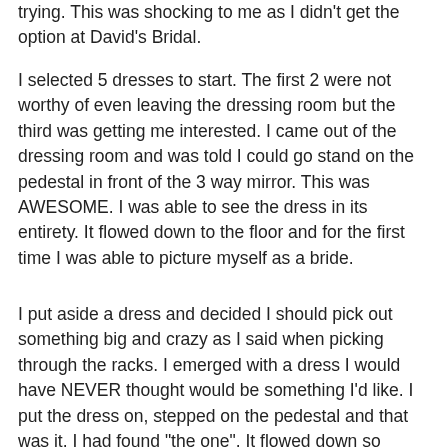trying. This was shocking to me as I didn't get the option at David's Bridal.
I selected 5 dresses to start. The first 2 were not worthy of even leaving the dressing room but the third was getting me interested. I came out of the dressing room and was told I could go stand on the pedestal in front of the 3 way mirror. This was AWESOME. I was able to see the dress in its entirety. It flowed down to the floor and for the first time I was able to picture myself as a bride.
I put aside a dress and decided I should pick out something big and crazy as I said when picking through the racks. I emerged with a dress I would have NEVER thought would be something I'd like. I put the dress on, stepped on the pedestal and that was it. I had found "the one". It flowed down so beautifully and I felt comfortable and confident in it.